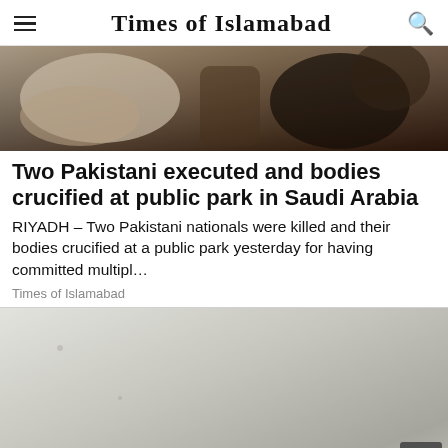Times of Islamabad
[Figure (photo): Close-up photo of hands, possibly a crowd or confrontation scene, outdoors]
Two Pakistani executed and bodies crucified at public park in Saudi Arabia
RIYADH – Two Pakistani nationals were killed and their bodies crucified at a public park yesterday for having committed multipl…
Times of Islamabad
[Figure (photo): Black and white photo of a distressed person covering their face with hands, against a wall]